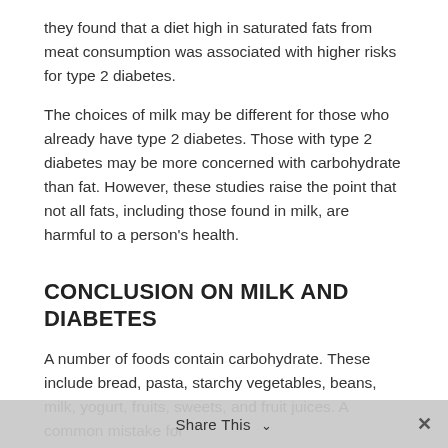they found that a diet high in saturated fats from meat consumption was associated with higher risks for type 2 diabetes.
The choices of milk may be different for those who already have type 2 diabetes. Those with type 2 diabetes may be more concerned with carbohydrate than fat. However, these studies raise the point that not all fats, including those found in milk, are harmful to a person's health.
CONCLUSION ON MILK AND DIABETES
A number of foods contain carbohydrate. These include bread, pasta, starchy vegetables, beans, milk, yogurt, fruits, sweets, and fruit juices. A common mistake for
Share This ∨  ✕